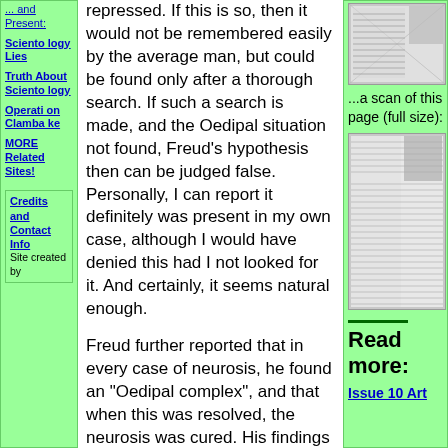... and Present:
Scientology Lies
Truth About Scientology
Operation Clambake
MORE Related Sites!
Credits and Contact Info
Site created by
repressed. If this is so, then it would not be remembered easily by the average man, but could be found only after a thorough search. If such a search is made, and the Oedipal situation not found, Freud’s hypothesis then can be judged false. Personally, I can report it definitely was present in my own case, although I would have denied this had I not looked for it. And certainly, it seems natural enough.
Freud further reported that in every case of neurosis, he found an "Oedipal complex", and that when this was resolved, the neurosis was cured. His findings have been confirmed by thousands of other observers now, in documented case studies kept on record at the Psychoanalytic Institute in Chicago and other places all over the world.
[Figure (photo): Thumbnail scan of a document page]
...a scan of this page (full size):
[Figure (photo): Full size scan of a document page]
Read more:
Issue 10 Art